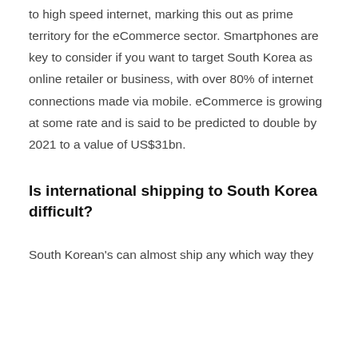to high speed internet, marking this out as prime territory for the eCommerce sector. Smartphones are key to consider if you want to target South Korea as online retailer or business, with over 80% of internet connections made via mobile. eCommerce is growing at some rate and is said to be predicted to double by 2021 to a value of US$31bn.
Is international shipping to South Korea difficult?
South Korean's can almost ship any which way they